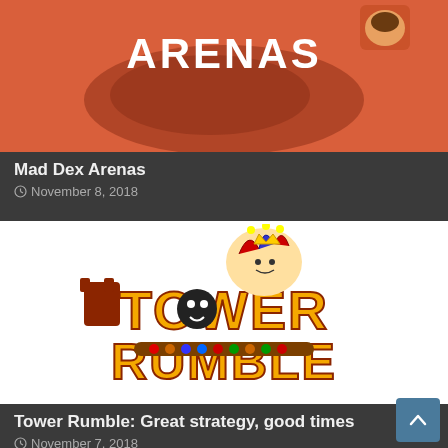[Figure (illustration): Mad Dex Arenas game banner with orange-red background and 'ARENAS' white text logo with a cartoon character]
Mad Dex Arenas
November 8, 2018
[Figure (logo): Tower Rumble game logo with colorful cartoon jester character, chess piece, and bomb on white background]
Tower Rumble: Great strategy, good times
November 7, 2018